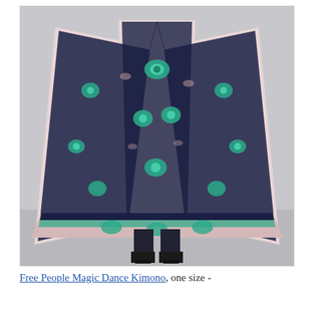[Figure (photo): A model photographed from behind wearing a large, flowing Free People Magic Dance Kimono with a navy, teal/turquoise, and blush/mauve paisley and floral print. The kimono is oversized and drapes to the knees. The model wears dark skinny jeans and black ankle boots. The background is a neutral grey.]
Free People Magic Dance Kimono, one size -